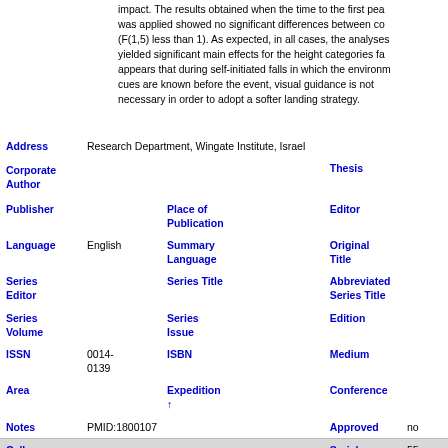impact. The results obtained when the time to the first peak was applied showed no significant differences between conditions (F(1,5) less than 1). As expected, in all cases, the analyses yielded significant main effects for the height categories fa... appears that during self-initiated falls in which the environm... cues are known before the event, visual guidance is not necessary in order to adopt a softer landing strategy.
| Field | Value | Field | Value | Field | Value |
| --- | --- | --- | --- | --- | --- |
| Address | Research Department, Wingate Institute, Israel |  |  |  |  |
| Corporate Author |  |  |  | Thesis |  |
| Publisher |  | Place of Publication |  | Editor |  |
| Language | English | Summary Language |  | Original Title |  |
| Series Editor |  | Series Title |  | Abbreviated Series Title |  |
| Series Volume |  | Series Issue |  | Edition |  |
| ISSN | 0014-0139 | ISBN |  | Medium |  |
| Area |  | Expedition ↑ |  | Conference |  |
| Notes | PMID:1800107 |  |  | Approved | no |
| Call |  |  |  | Serial | 55 |